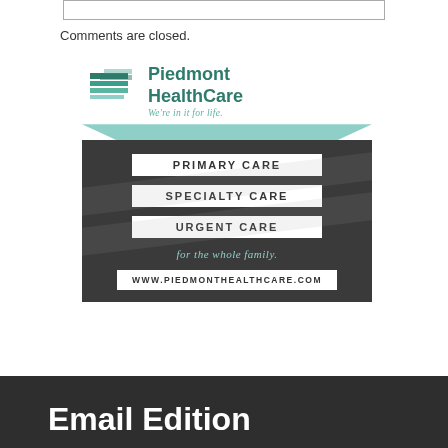Comments are closed.
[Figure (logo): Piedmont HealthCare advertisement banner. Logo at top with teal horizontal stripes icon and text 'Piedmont HealthCare - We're in it for life.' Below is a dark charcoal banner with three white buttons labeled PRIMARY CARE, SPECIALTY CARE, URGENT CARE, then italic teal text 'for the whole family.' and a white box with 'WWW.PIEDMONTHEALTHCARE.COM']
Email Edition